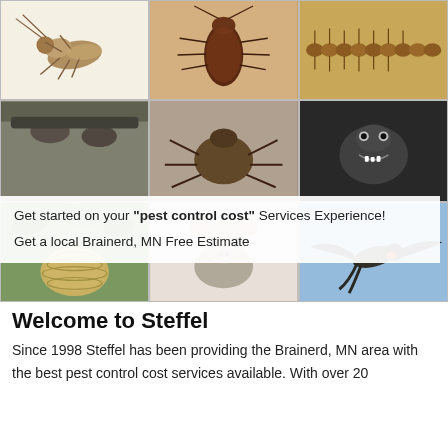[Figure (photo): 3x3 grid of pest control photos: cricket, cockroach, centipede (row 1); rodent closeup, spider/bug, dark animal (row 2 behind text); wasp nest, mouse, bird in flight (row 3)]
Get started on your "pest control cost" Services Experience! Get a local Brainerd, MN Free Estimate
Welcome to Steffel
Since 1998 Steffel has been providing the Brainerd, MN area with the best pest control cost services available. With over 20